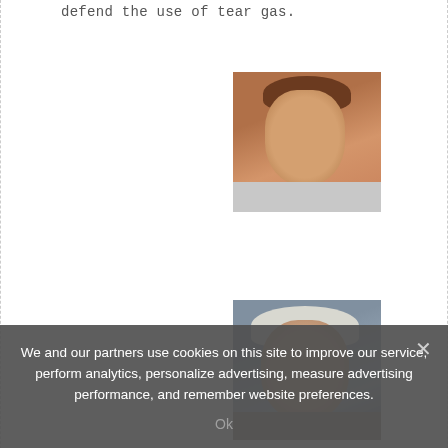defend the use of tear gas.
[Figure (photo): Close-up photo of a female athlete with hair pulled up, warm skin tone, appears to be in action or competition.]
[Figure (photo): Close-up photo of an older person with grey/white hair, appearing to grimace or shout.]
[Figure (photo): Close-up photo of a young man with bleached/light hair wearing a yellow-green Brazilian sports jersey, mouth open.]
[Figure (photo): Partial photo showing just the top of a head with dark hair against a pinkish background.]
We and our partners use cookies on this site to improve our service, perform analytics, personalize advertising, measure advertising performance, and remember website preferences.
Ok